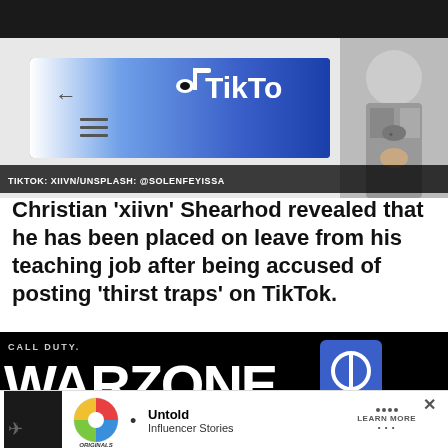[Figure (photo): TikTok app on phone screen split with person making a gesture, TikTok logo visible]
TIKTOK: XIIVN/UNSPLASH: @SOLENFEYISSA
Christian ‘xiivn’ Shearhod revealed that he has been placed on leave from his teaching job after being accused of posting ‘thirst traps’ on TikTok.
[Figure (screenshot): Call of Duty Warzone logo and DoubleClick/gaming icon on black background]
[Figure (other): Advertisement: Untold Influencer Stories with Originals logo, Learn More button]